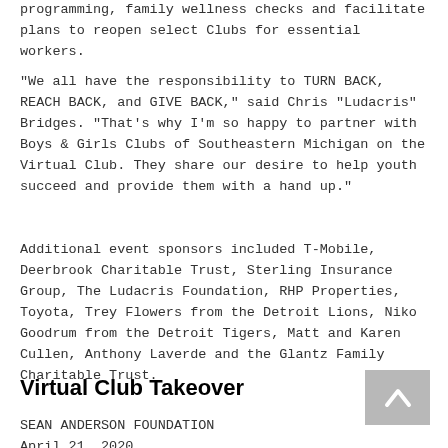programming, family wellness checks and facilitate plans to reopen select Clubs for essential workers.
"We all have the responsibility to TURN BACK, REACH BACK, and GIVE BACK," said Chris "Ludacris" Bridges. "That's why I'm so happy to partner with Boys & Girls Clubs of Southeastern Michigan on the Virtual Club. They share our desire to help youth succeed and provide them with a hand up."
Additional event sponsors included T-Mobile, Deerbrook Charitable Trust, Sterling Insurance Group, The Ludacris Foundation, RHP Properties, Toyota, Trey Flowers from the Detroit Lions, Niko Goodrum from the Detroit Tigers, Matt and Karen Cullen, Anthony Laverde and the Glantz Family Charitable Trust.
Virtual Club Takeover
SEAN ANDERSON FOUNDATION
April 21, 2020
[Figure (photo): Dark banner image with the word REIMAGINE in a logo/graphic style]